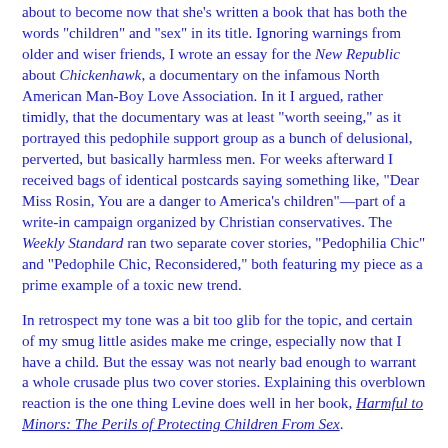about to become now that she's written a book that has both the words "children" and "sex" in its title. Ignoring warnings from older and wiser friends, I wrote an essay for the New Republic about Chickenhawk, a documentary on the infamous North American Man-Boy Love Association. In it I argued, rather timidly, that the documentary was at least "worth seeing," as it portrayed this pedophile support group as a bunch of delusional, perverted, but basically harmless men. For weeks afterward I received bags of identical postcards saying something like, "Dear Miss Rosin, You are a danger to America's children"—part of a write-in campaign organized by Christian conservatives. The Weekly Standard ran two separate cover stories, "Pedophilia Chic" and "Pedophile Chic, Reconsidered," both featuring my piece as a prime example of a toxic new trend.
In retrospect my tone was a bit too glib for the topic, and certain of my smug little asides make me cringe, especially now that I have a child. But the essay was not nearly bad enough to warrant a whole crusade plus two cover stories. Explaining this overblown reaction is the one thing Levine does well in her book, Harmful to Minors: The Perils of Protecting Children From Sex.
Levine is the latest in a string of critics who have debunked the child abuse hysteria of the late '80s and '90s, both from the right and